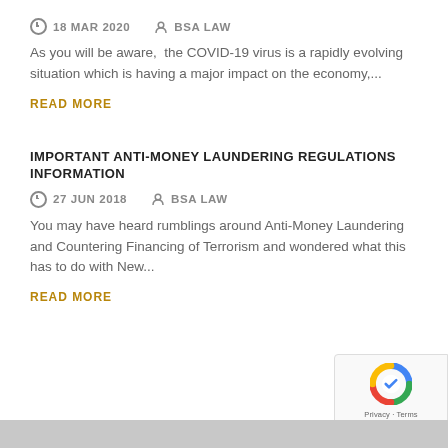18 MAR 2020   BSA LAW
As you will be aware,  the COVID-19 virus is a rapidly evolving situation which is having a major impact on the economy,...
READ MORE
IMPORTANT ANTI-MONEY LAUNDERING REGULATIONS INFORMATION
27 JUN 2018   BSA LAW
You may have heard rumblings around Anti-Money Laundering and Countering Financing of Terrorism and wondered what this has to do with New...
READ MORE